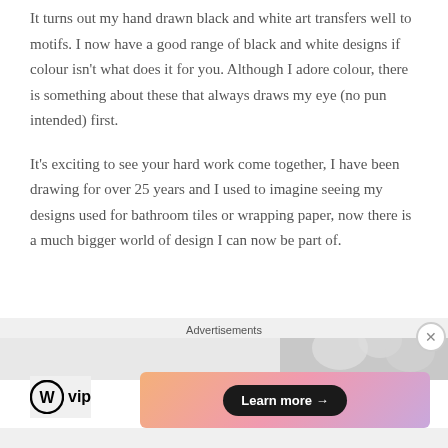It turns out my hand drawn black and white art transfers well to motifs. I now have a good range of black and white designs if colour isn't what does it for you. Although I adore colour, there is something about these that always draws my eye (no pun intended) first.
It's exciting to see your hard work come together, I have been drawing for over 25 years and I used to imagine seeing my designs used for bathroom tiles or wrapping paper, now there is a much bigger world of design I can now be part of.
[Figure (screenshot): Partial image strip showing a light gray placeholder on the left and a blurred light gray/white image on the right with a close (X) button overlay]
Advertisements
[Figure (logo): WordPress VIP logo with circle W icon and 'vip' text]
[Figure (illustration): Gradient advertisement banner with 'Learn more →' button in dark pill shape]